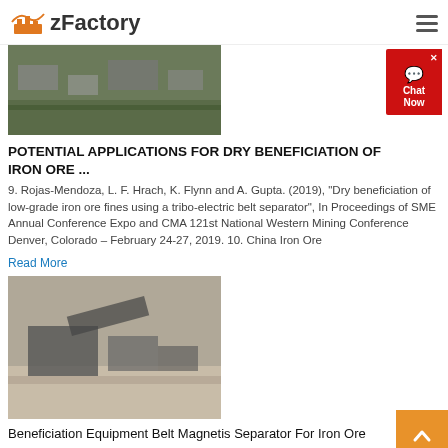zFactory
[Figure (photo): Aerial view of an industrial mining or processing facility]
POTENTIAL APPLICATIONS FOR DRY BENEFICIATION OF IRON ORE ...
9. Rojas-Mendoza, L. F. Hrach, K. Flynn and A. Gupta. (2019), "Dry beneficiation of low-grade iron ore fines using a tribo-electric belt separator", In Proceedings of SME Annual Conference Expo and CMA 121st National Western Mining Conference Denver, Colorado – February 24-27, 2019. 10. China Iron Ore
Read More
[Figure (photo): Large mining equipment / belt separator machine at a gravel or ore site]
Beneficiation Equipment Belt Magnetis Separator For Iron Ore
Beneficiation Equipment Belt Magnetis Separator For Iron Ore. The